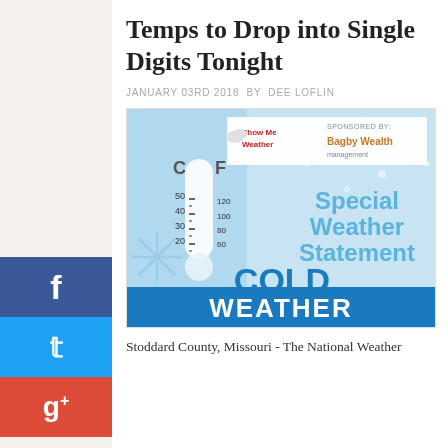Temps to Drop into Single Digits Tonight
JANUARY 03RD 2018 BY DEE LOFLIN
[Figure (infographic): Special Weather Statement - Cold Weather graphic with thermometer and snowflake imagery. Show Me Weather logo and Bagby Wealth sponsor logo at top. Large text reads 'Special Weather Statement' and 'COLD WEATHER'.]
Stoddard County, Missouri - The National Weather